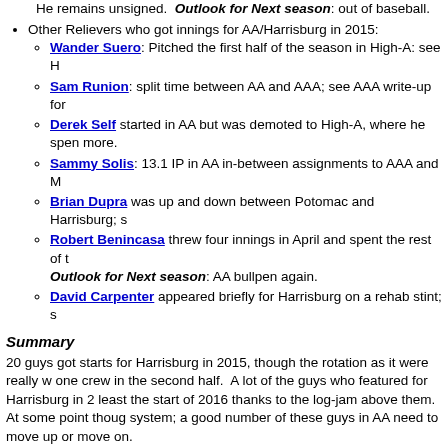He remains unsigned. Outlook for Next season: out of baseball.
Other Relievers who got innings for AA/Harrisburg in 2015:
Wander Suero: Pitched the first half of the season in High-A: see H
Sam Runion: split time between AA and AAA; see AAA write-up for
Derek Self started in AA but was demoted to High-A, where he spent more.
Sammy Solis: 13.1 IP in AA in-between assignments to AAA and M
Brian Dupra was up and down between Potomac and Harrisburg; s
Robert Benincasa threw four innings in April and spent the rest of t Outlook for Next season: AA bullpen again.
David Carpenter appeared briefly for Harrisburg on a rehab stint; s
Summary
20 guys got starts for Harrisburg in 2015, though the rotation as it were really w one crew in the second half. A lot of the guys who featured for Harrisburg in 2 least the start of 2016 thanks to the log-jam above them. At some point thoug system; a good number of these guys in AA need to move up or move on.